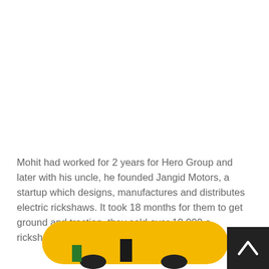Mohit had worked for 2 years for Hero Group and later with his uncle, he founded Jangid Motors, a startup which designs, manufactures and distributes electric rickshaws. It took 18 months for them to get ground and traction, they sold over 10,000 e-rickshaws said Mohit.
[Figure (illustration): Bottom portion of a yellow electric rickshaw illustration, partially cropped at the bottom of the page. A dark scroll-to-top button with an upward arrow chevron is shown in the bottom-right corner.]